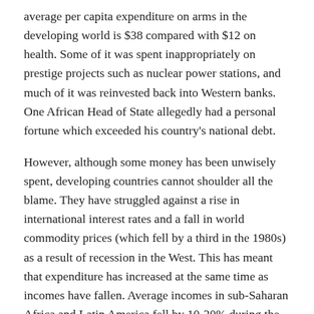average per capita expenditure on arms in the developing world is $38 compared with $12 on health. Some of it was spent inappropriately on prestige projects such as nuclear power stations, and much of it was reinvested back into Western banks. One African Head of State allegedly had a personal fortune which exceeded his country's national debt.
However, although some money has been unwisely spent, developing countries cannot shoulder all the blame. They have struggled against a rise in international interest rates and a fall in world commodity prices (which fell by a third in the 1980s) as a result of recession in the West. This has meant that expenditure has increased at the same time as incomes have fallen. Average incomes in sub-Saharan Africa and Latin America fell by 10-20% during the 1980s while the price of basic foods trebled.[13] The result has been that between 1982 and 1987 the total foreign debt of developing countries almost doubled, from US $650bn to US $1,190bn. [14] Africa's debt alone rose from US $212bn in 1986 to US